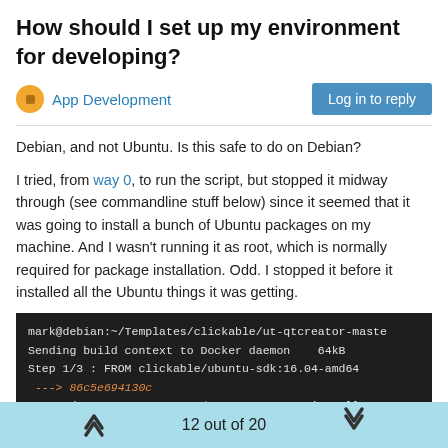How should I set up my environment for developing?
App Development
Debian, and not Ubuntu. Is this safe to do on Debian?
I tried, from way 0, to run the script, but stopped it midway through (see commandline stuff below) since it seemed that it was going to install a bunch of Ubuntu packages on my machine. And I wasn't running it as root, which is normally required for package installation. Odd. I stopped it before it installed all the Ubuntu things it was getting.
[Figure (screenshot): Terminal output showing Docker build steps on Debian, including FROM clickable/ubuntu-sdk:16.04-amd64, RUN apt-get update && apt-get install, and Get:1 http://archive.ubuntu.com/ubuntu xenial InRele...]
12 out of 20